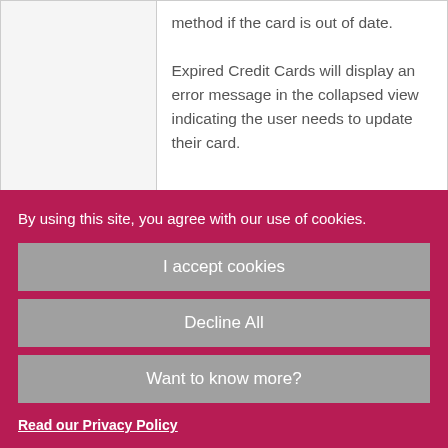|  | method if the card is out of date.

Expired Credit Cards will display an error message in the collapsed view indicating the user needs to update their card. |
| Clicks Update | They can: |
By using this site, you agree with our use of cookies.
I accept cookies
Decline All
Want to know more?
Read our Privacy Policy